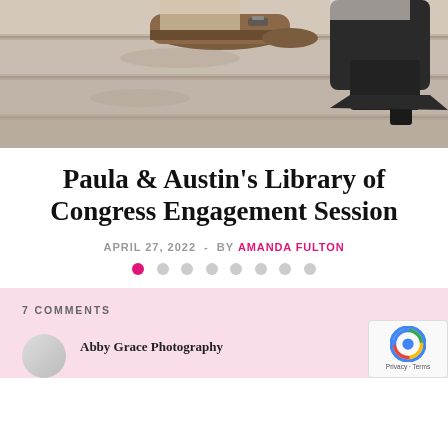[Figure (photo): Close-up photo of two pairs of shoes on stone steps — one brown monk-strap shoe and one black pointed-toe ankle boot]
Paula & Austin's Library of Congress Engagement Session
APRIL 27, 2022 - BY AMANDA FULTON
[Figure (infographic): Pagination dots: 8 circles, first one pink/active, rest grey/inactive]
7 COMMENTS
Abby Grace Photography